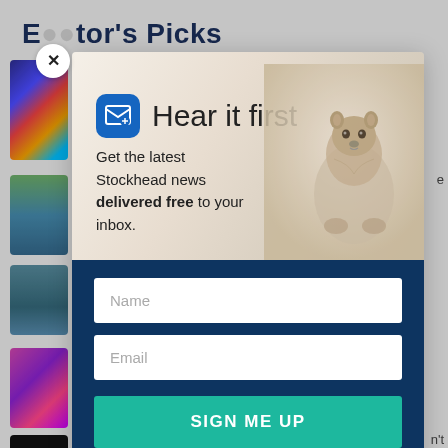Editor's Picks
[Figure (screenshot): Newsletter signup modal popup on a news website (Stockhead). Top section has a light beige background with an animal (marmot/groundhog) photo, a blue mail icon, headline 'Hear it first', and subtext 'Get the latest Stockhead news delivered free to your inbox.' Bottom section is dark navy blue with Name and Email input fields and a teal SIGN ME UP button. A close (X) button appears at the top left of the modal.]
Hear it first
Get the latest Stockhead news delivered free to your inbox.
Name
Email
SIGN ME UP